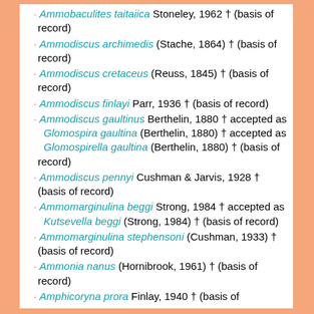Ammobaculites taitaiica Stoneley, 1962 † (basis of record)
Ammodiscus archimedis (Stache, 1864) † (basis of record)
Ammodiscus cretaceus (Reuss, 1845) † (basis of record)
Ammodiscus finlayi Parr, 1936 † (basis of record)
Ammodiscus gaultinus Berthelin, 1880 † accepted as  Glomospira gaultina (Berthelin, 1880) † accepted as  Glomospirella gaultina (Berthelin, 1880) † (basis of record)
Ammodiscus pennyi Cushman & Jarvis, 1928 † (basis of record)
Ammomarginulina beggi Strong, 1984 † accepted as  Kutsevella beggi (Strong, 1984) † (basis of record)
Ammomarginulina stephensoni (Cushman, 1933) † (basis of record)
Ammonia nanus (Hornibrook, 1961) † (basis of record)
Amphicoryna prora Finlay, 1940 † (basis of record)